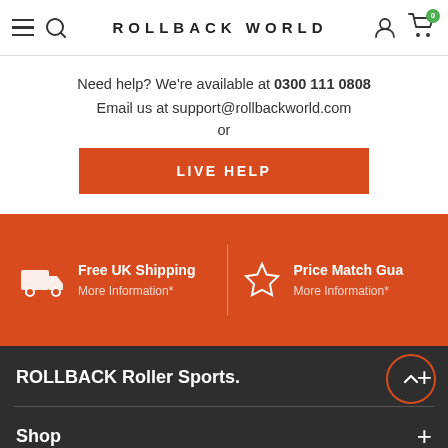ROLLBACK WORLD
Need help? We're available at 0300 111 0808
Email us at support@rollbackworld.com
or
LIVE HELP
[Figure (infographic): Orange banner showing Free UK Shipping (with truck icon and More Information*) and Price Match Guarantee (with star icon and More Information*)]
ROLLBACK Roller Sports.
Shop